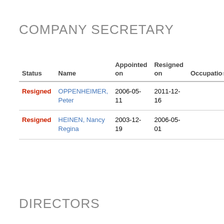COMPANY SECRETARY
| Status | Name | Appointed on | Resigned on | Occupation |
| --- | --- | --- | --- | --- |
| Resigned | OPPENHEIMER, Peter | 2006-05-11 | 2011-12-16 |  |
| Resigned | HEINEN, Nancy Regina | 2003-12-19 | 2006-05-01 |  |
DIRECTORS